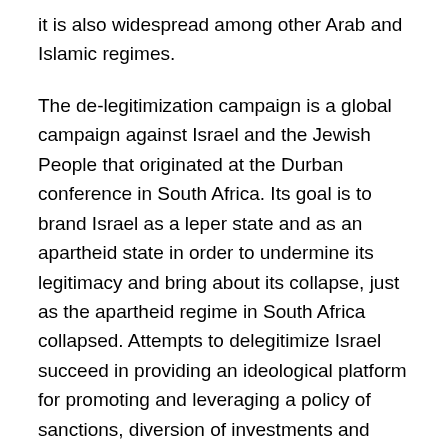it is also widespread among other Arab and Islamic regimes.
The de-legitimization campaign is a global campaign against Israel and the Jewish People that originated at the Durban conference in South Africa. Its goal is to brand Israel as a leper state and as an apartheid state in order to undermine its legitimacy and bring about its collapse, just as the apartheid regime in South Africa collapsed. Attempts to delegitimize Israel succeed in providing an ideological platform for promoting and leveraging a policy of sanctions, diversion of investments and boycotts in a wide range of areas such as academia, culture and sports, the economy, defense and more.
The de-legitimization campaign is also characterized by organized convoys and flotillas to the Gaza Strip, protest demonstrations, marches, events marking anniversaries,